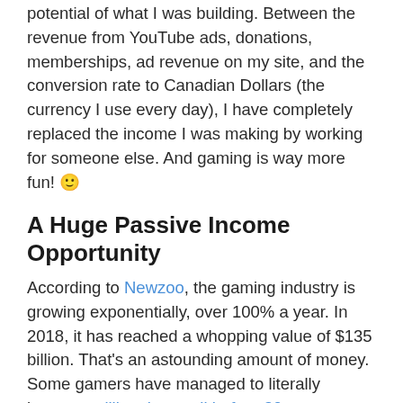potential of what I was building. Between the revenue from YouTube ads, donations, memberships, ad revenue on my site, and the conversion rate to Canadian Dollars (the currency I use every day), I have completely replaced the income I was making by working for someone else. And gaming is way more fun! 🙂
A Huge Passive Income Opportunity
According to Newzoo, the gaming industry is growing exponentially, over 100% a year. In 2018, it has reached a whopping value of $135 billion. That's an astounding amount of money. Some gamers have managed to literally become millionaires well before 30.